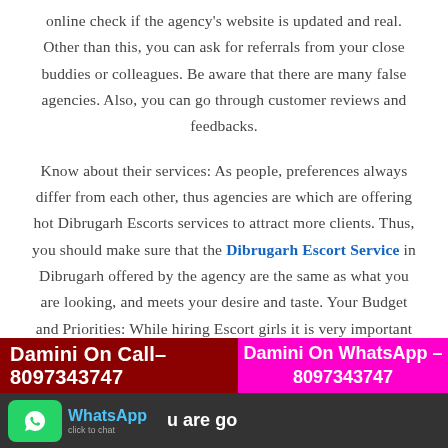online check if the agency's website is updated and real. Other than this, you can ask for referrals from your close buddies or colleagues. Be aware that there are many false agencies. Also, you can go through customer reviews and feedbacks.
Know about their services: As people, preferences always differ from each other, thus agencies are which are offering hot Dibrugarh Escorts services to attract more clients. Thus, you should make sure that the Dibrugarh Escort Service in Dibrugarh offered by the agency are the same as what you are looking, and meets your desire and taste. Your Budget and Priorities: While hiring Escort girls it is very important
Damini On Call– 8097343747 | Damini On WhatsApp – 8097343747